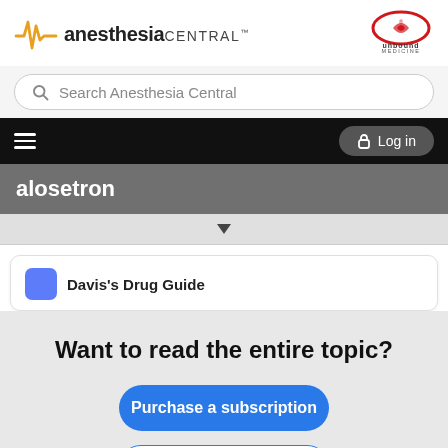[Figure (logo): Anesthesia Central logo with heartbeat waveform and Unbound Medicine logo on the right]
Search Anesthesia Central
[Figure (screenshot): Navigation bar with hamburger menu on left and Log in button on right]
alosetron
[Figure (screenshot): Dropdown arrow bar]
Davis's Drug Guide
Want to read the entire topic?
Purchase a subscription
I'm already a subscriber
Browse sample topics